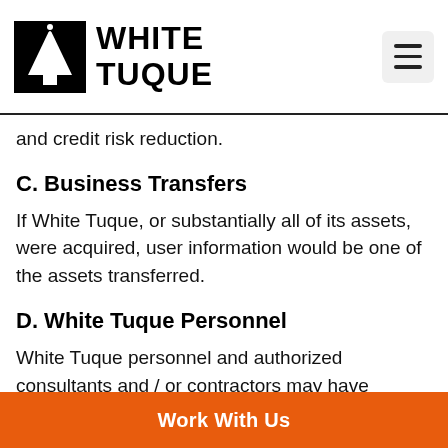WHITE TUQUE
and credit risk reduction.
C. Business Transfers
If White Tuque, or substantially all of its assets, were acquired, user information would be one of the assets transferred.
D. White Tuque Personnel
White Tuque personnel and authorized consultants and / or contractors may have access to Personal Identifiable Information, where such access is necessary in the normal course of White Tuque business.
Work With Us